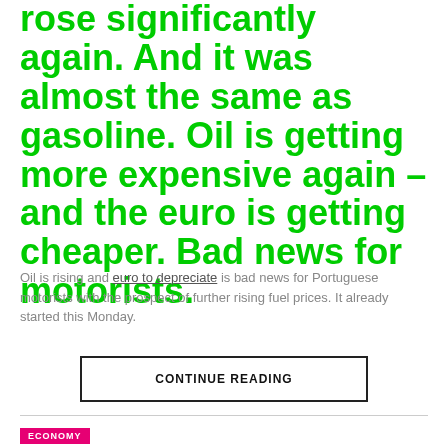rose significantly again. And it was almost the same as gasoline. Oil is getting more expensive again – and the euro is getting cheaper. Bad news for motorists.
Oil is rising and euro to depreciate is bad news for Portuguese motorists with the prospect of further rising fuel prices. It already started this Monday.
CONTINUE READING
ECONOMY